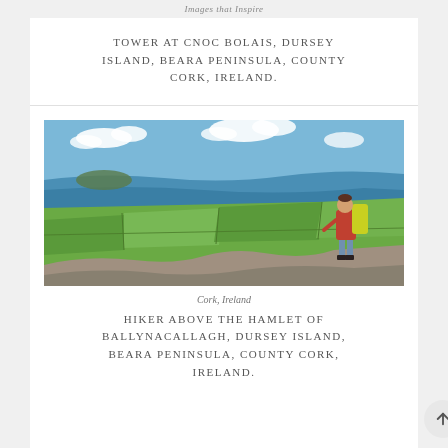Images that Inspire
TOWER AT CNOC BOLAIS, DURSEY ISLAND, BEARA PENINSULA, COUNTY CORK, IRELAND.
[Figure (photo): A hiker with a yellow backpack and red jacket stands on rocky ground overlooking green patchwork fields, the sea, and a small island under a blue sky with white clouds. Dursey Island, Beara Peninsula, County Cork, Ireland.]
Cork, Ireland
HIKER ABOVE THE HAMLET OF BALLYNACALLAGH, DURSEY ISLAND, BEARA PENINSULA, COUNTY CORK, IRELAND.